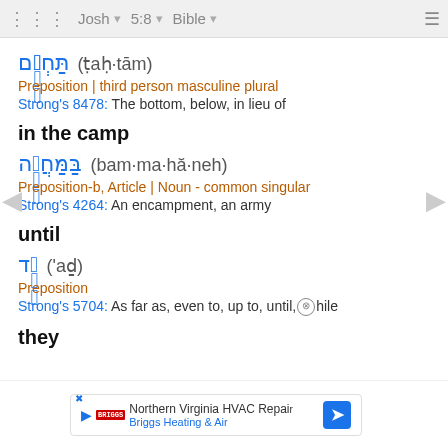Josh  5:8  Bible
תַּחְתָּם (taḥ·tām)
Preposition | third person masculine plural
Strong's 8478: The bottom, below, in lieu of
in the camp
בַּמַּחֲנֶה (bam·ma·hă·neh)
Preposition-b, Article | Noun - common singular
Strong's 4264: An encampment, an army
until
עַד ('aḏ)
Preposition
Strong's 5704: As far as, even to, up to, until, while
they
[Figure (screenshot): Northern Virginia HVAC Repair advertisement banner with Briggs Heating & Air logo and navigation arrow icon]